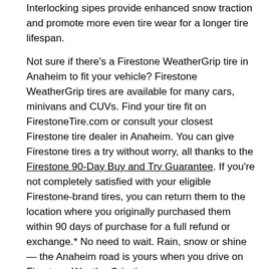Interlocking sipes provide enhanced snow traction and promote more even tire wear for a longer tire lifespan.
Not sure if there's a Firestone WeatherGrip tire in Anaheim to fit your vehicle? Firestone WeatherGrip tires are available for many cars, minivans and CUVs. Find your tire fit on FirestoneTire.com or consult your closest Firestone tire dealer in Anaheim. You can give Firestone tires a try without worry, all thanks to the Firestone 90-Day Buy and Try Guarantee. If you're not completely satisfied with your eligible Firestone-brand tires, you can return them to the location where you originally purchased them within 90 days of purchase for a full refund or exchange.* No need to wait. Rain, snow or shine — the Anaheim road is yours when you drive on Firestone WeatherGrip tires.
*Certain limitations and restrictions apply. See warranty manual for details.